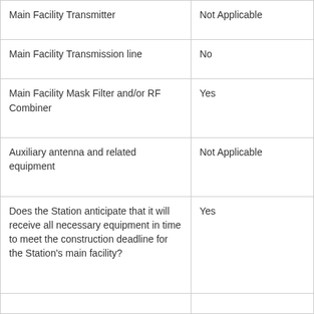| Main Facility Transmitter | Not Applicable |
| Main Facility Transmission line | No |
| Main Facility Mask Filter and/or RF Combiner | Yes |
| Auxiliary antenna and related equipment | Not Applicable |
| Does the Station anticipate that it will receive all necessary equipment in time to meet the construction deadline for the Station's main facility? | Yes |